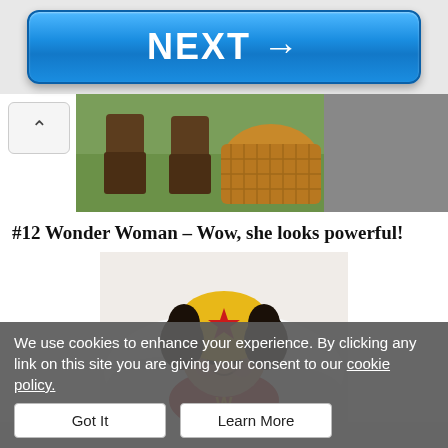[Figure (screenshot): Blue NEXT button with arrow pointing right]
[Figure (photo): Partial photo showing brown boots and a wicker basket on grass]
#12 Wonder Woman – Wow, she looks powerful!
[Figure (photo): Baby wearing a crocheted Wonder Woman hat with black hair and red star, and red Wonder Woman outfit, lying on white fluffy blanket]
We use cookies to enhance your experience. By clicking any link on this site you are giving your consent to our cookie policy.
Got It
Learn More